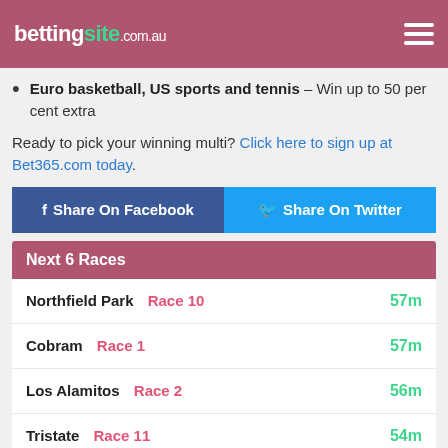bettingsite.com.au
Euro basketball, US sports and tennis – Win up to 50 per cent extra
Ready to pick your winning multi? Click here to sign up at Bet365.com today.
Share On Facebook | Share On Twitter
Next 6 Races
Northfield Park  Race 10  57m
Cobram  Race 1  57m
Los Alamitos  Race 2  56m
Tristate  Race 11  54m